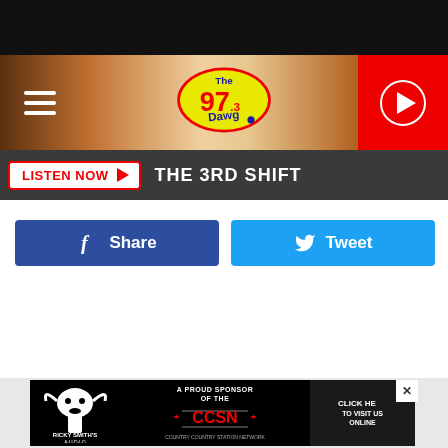[Figure (screenshot): 97.3 The Dawg radio station website screenshot showing header with logo, listen now bar, share/tweet buttons, and advertisement banner]
THE 3RD SHIFT
Share
Tweet
[Figure (logo): Ricky Smith's Audio advertisement banner with CCSN logo and 'CLICK HERE TO VISIT US ONLINE' text]